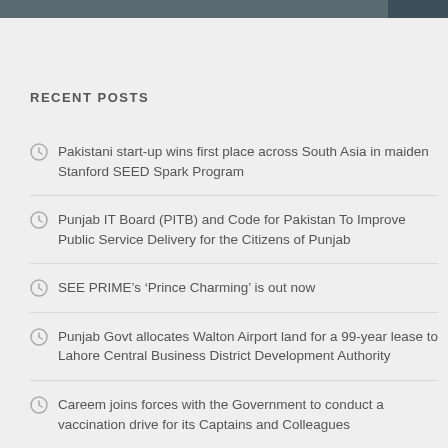RECENT POSTS
Pakistani start-up wins first place across South Asia in maiden Stanford SEED Spark Program
Punjab IT Board (PITB) and Code for Pakistan To Improve Public Service Delivery for the Citizens of Punjab
SEE PRIME’s ‘Prince Charming’ is out now
Punjab Govt allocates Walton Airport land for a 99-year lease to Lahore Central Business District Development Authority
Careem joins forces with the Government to conduct a vaccination drive for its Captains and Colleagues